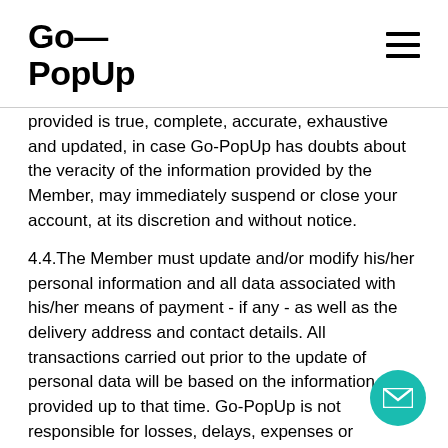Go—PopUp
provided is true, complete, accurate, exhaustive and updated, in case Go-PopUp has doubts about the veracity of the information provided by the Member, may immediately suspend or close your account, at its discretion and without notice.
4.4.The Member must update and/or modify his/her personal information and all data associated with his/her means of payment - if any - as well as the delivery address and contact details. All transactions carried out prior to the update of personal data will be based on the information provided up to that time. Go-PopUp is not responsible for losses, delays, expenses or damages due to its lack of updating...
5.HIGH SPACES AND COMPLEMENTS